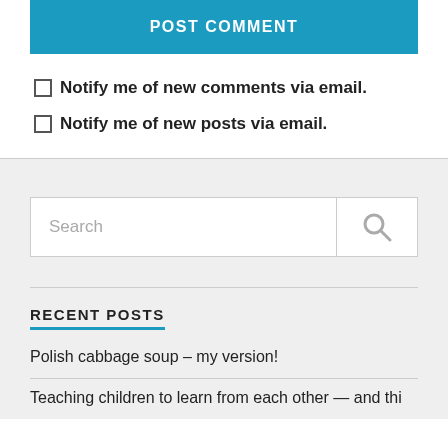[Figure (screenshot): POST COMMENT button — teal/blue wide button with white bold uppercase text]
Notify me of new comments via email.
Notify me of new posts via email.
[Figure (screenshot): Search box with placeholder text 'Search' and a magnifying glass icon button on the right]
RECENT POSTS
Polish cabbage soup – my version!
Teaching children to learn from each other — and this